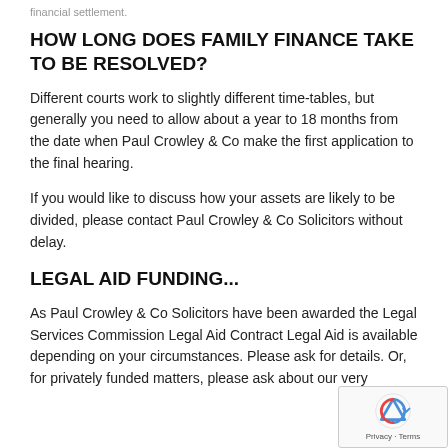financial settlement.
HOW LONG DOES FAMILY FINANCE TAKE TO BE RESOLVED?
Different courts work to slightly different time-tables, but generally you need to allow about a year to 18 months from the date when Paul Crowley & Co make the first application to the final hearing.
If you would like to discuss how your assets are likely to be divided, please contact Paul Crowley & Co Solicitors without delay.
LEGAL AID FUNDING...
As Paul Crowley & Co Solicitors have been awarded the Legal Services Commission Legal Aid Contract Legal Aid is available depending on your circumstances. Please ask for details. Or, for privately funded matters, please ask about our very